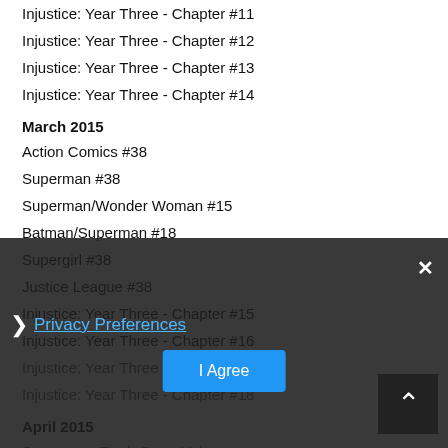Injustice: Year Three - Chapter #11
Injustice: Year Three - Chapter #12
Injustice: Year Three - Chapter #13
Injustice: Year Three - Chapter #14
March 2015
Action Comics #38
Superman #38
Superman/Wonder Woman #15
Batman/Superman #18
Supergirl #38
Justice League #38
Injustice: Year Three - Chapter #15
Injustice: Year Three - Chapter #16
Injustice: Year Three - Chapter #17
Injustice: Year Three - Chapter #18
April 2015
Superman: Earth One - Vol...
Action Comics #39
Superman #39
Privacy Preferences
I Agree